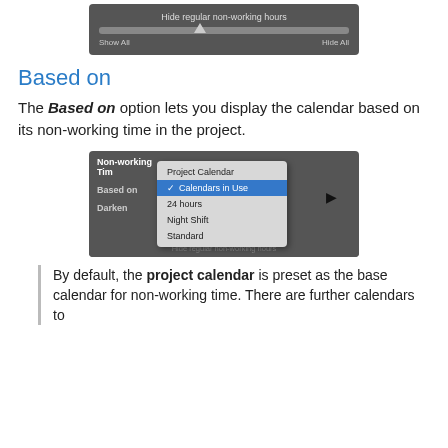[Figure (screenshot): Dark UI screenshot showing 'Hide regular non-working hours' slider control with Show All and Hide All labels]
Based on
The Based on option lets you display the calendar based on its non-working time in the project.
[Figure (screenshot): Dark UI screenshot showing Non-working Time settings panel with a dropdown open showing options: Project Calendar, Calendars in Use (selected/highlighted in blue), 24 hours, Night Shift, Standard. Cursor pointer visible.]
By default, the project calendar is preset as the base calendar for non-working time. There are further calendars to